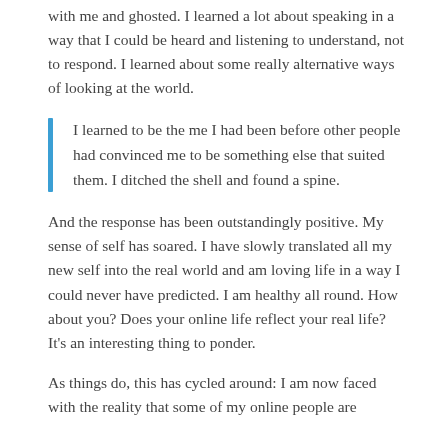with me and ghosted. I learned a lot about speaking in a way that I could be heard and listening to understand, not to respond. I learned about some really alternative ways of looking at the world.
I learned to be the me I had been before other people had convinced me to be something else that suited them. I ditched the shell and found a spine.
And the response has been outstandingly positive. My sense of self has soared. I have slowly translated all my new self into the real world and am loving life in a way I could never have predicted. I am healthy all round. How about you? Does your online life reflect your real life? It's an interesting thing to ponder.
As things do, this has cycled around: I am now faced with the reality that some of my online people are